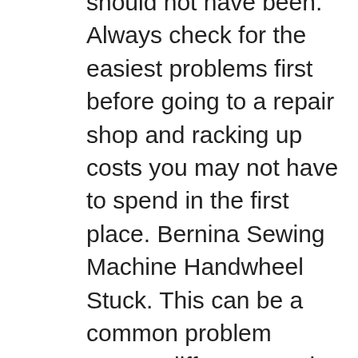should not have been. Always check for the easiest problems first before going to a repair shop and racking up costs you may not have to spend in the first place. Bernina Sewing Machine Handwheel Stuck. This can be a common problem among different Bernina machines. Out of Print Manuals For your convenience, we have assembled a list of out of print BERNINA manuals for your viewing and use BERNINA 707 / 717 Manual BERNINA 730 / 731 / 732 Manual BERNINA 740 / 741 / 742 Manual BERNINA 800 Manual BERNINA 801 Manual BERNINA 807 / 810 / 817 Manual BERNINA 830 1971-1982 Manual BERNINA 930 Manual BERNINA 1001